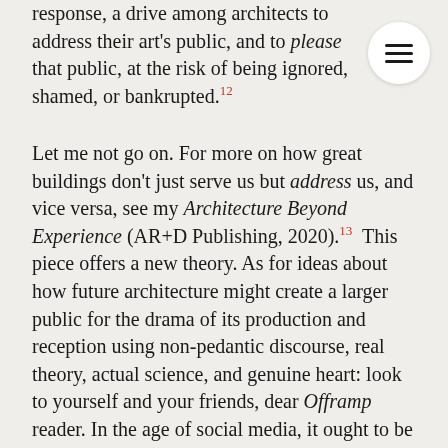response, a drive among architects to address their art's public, and to please that public, at risk of being ignored, shamed, or bankrupted.12
Let me not go on. For more on how great buildings don't just serve us but address us, and vice versa, see my Architecture Beyond Experience (AR+D Publishing, 2020).13  This piece offers a new theory. As for ideas about how future architecture might create a larger public for the drama of its production and reception using non-pedantic discourse, real theory, actual science, and genuine heart: look to yourself and your friends, dear Offramp reader. In the age of social media, it ought to be possible. And maybe it's happening already.